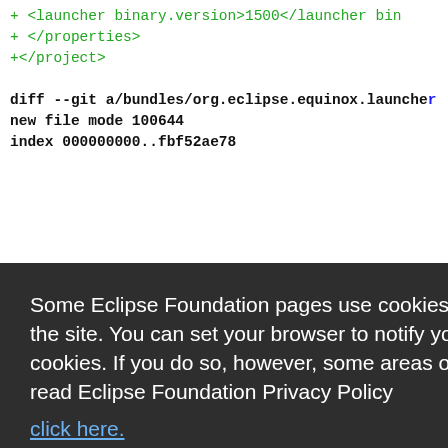+   <launcher binary.version>1500</launcher bine
+   </properties>
+</project>
diff --git a/bundles/org.eclipse.equinox.launcher
new file mode 100644
index 000000000..fbf52ae78
er.gtk.li
Some Eclipse Foundation pages use cookies to better serve you when you return to the site. You can set your browser to notify you before you receive a cookie or turn off cookies. If you do so, however, some areas of some sites may not function properly. To read Eclipse Foundation Privacy Policy click here.
the acco
the Ecli
and is av
edl-v10.p
ation
en.apache
xmlns:xsi= http://www.w3.org/2001/XMLSchema-
+ modelVersion>4.0.0</modelVersion>